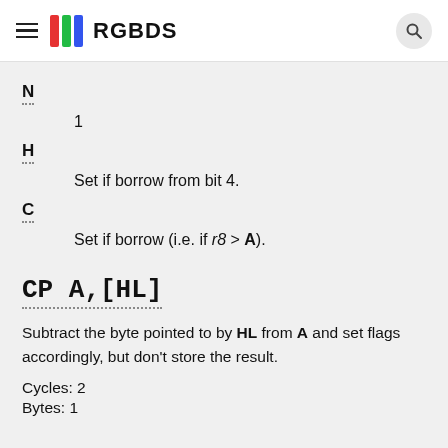RGBDS
N
1
H
Set if borrow from bit 4.
C
Set if borrow (i.e. if r8 > A).
CP A,[HL]
Subtract the byte pointed to by HL from A and set flags accordingly, but don't store the result.
Cycles: 2
Bytes: 1